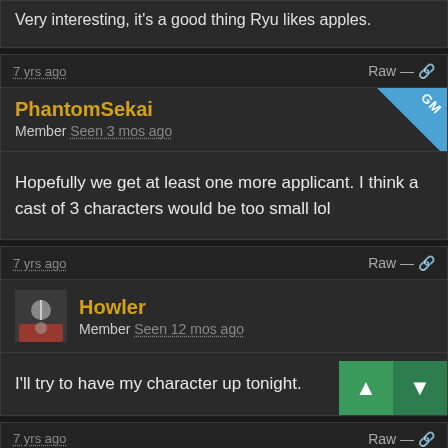Very interesting, it's a good thing Ryu likes apples.
7 yrs ago
Raw —
PhantomSekai
Member Seen 3 mos ago
GM
Hopefully we get at least one more applicant. I think a cast of 3 characters would be too small lol
7 yrs ago
Raw —
Howler
Member Seen 12 mos ago
I'll try to have my character up tonight.
7 yrs ago
Raw —